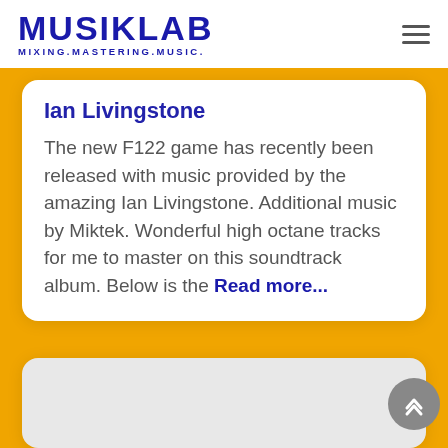MUSIKLAB MIXING.MASTERING.MUSIC.
Ian Livingstone
The new F122 game has recently been released with music provided by the amazing Ian Livingstone. Additional music by Miktek. Wonderful high octane tracks for me to master on this soundtrack album. Below is the Read more...